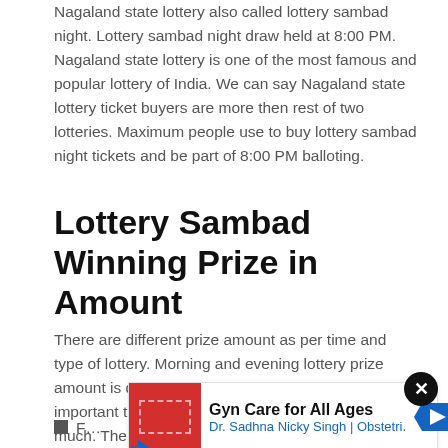Nagaland state lottery also called lottery sambad night. Lottery sambad night draw held at 8:00 PM. Nagaland state lottery is one of the most famous and popular lottery of India. We can say Nagaland state lottery ticket buyers are more then rest of two lotteries. Maximum people use to buy lottery sambad night tickets and be part of 8:00 PM balloting.
Lottery Sambad Winning Prize in Amount
There are different prize amount as per time and type of lottery. Morning and evening lottery prize amount is different then each other. One of the important thing to tell you lottery ticket price if not too much. The face value of lottery ticket is 11 Rupees only.
F...
So...
[Figure (other): Advertisement banner: Gyn Care for All Ages, Dr. Sadhna Nicky Singh | Obstetri. with red image thumbnail, play button icon, and navigation arrow logo]